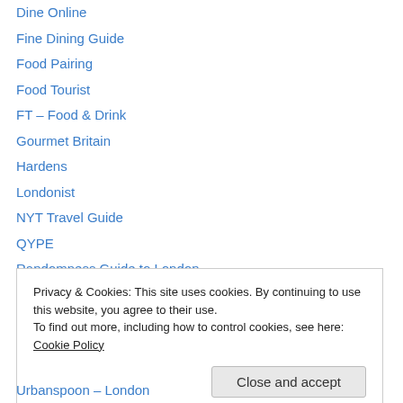Dine Online
Fine Dining Guide
Food Pairing
Food Tourist
FT – Food & Drink
Gourmet Britain
Hardens
Londonist
NYT Travel Guide
QYPE
Randomness Guide to London
Relais & Chateaux
Restaurant Ranking
Privacy & Cookies: This site uses cookies. By continuing to use this website, you agree to their use. To find out more, including how to control cookies, see here: Cookie Policy
Urbanspoon – London